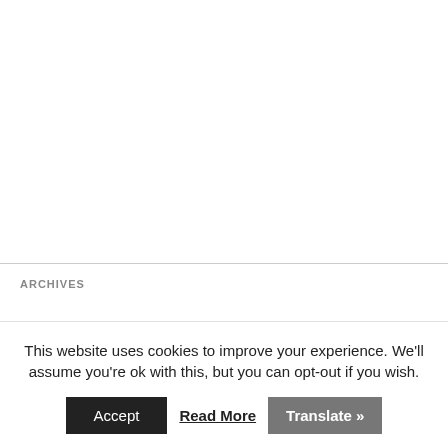ARCHIVES
This website uses cookies to improve your experience. We'll assume you're ok with this, but you can opt-out if you wish.
Accept   Read More   Translate »